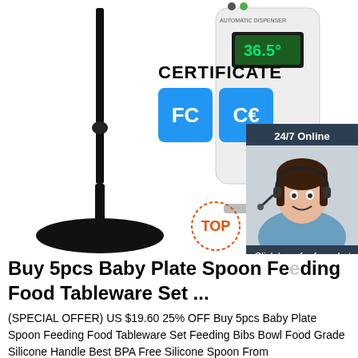[Figure (photo): Product collage: adjustable mic stand on left, FCC and CE certification badges in center, automatic hand sanitizer/temperature dispenser on right, customer service agent with headset in dark-themed chat widget overlay on far right]
Buy 5pcs Baby Plate Spoon Feeding Food Tableware Set ...
(SPECIAL OFFER) US $19.60 25% OFF Buy 5pcs Baby Plate Spoon Feeding Food Tableware Set Feeding Bibs Bowl Food Grade Silicone Handle Best BPA Free Silicone Spoon From